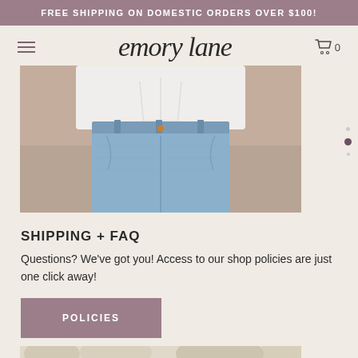FREE SHIPPING ON DOMESTIC ORDERS OVER $100!
[Figure (logo): Enory lane script logo with hamburger menu and cart icon showing 0 items]
[Figure (photo): Close-up photo of a person wearing light blue denim jeans and a white tucked-in shirt, photographed against a sandy/concrete background]
SHIPPING + FAQ
Questions? We've got you! Access to our shop policies are just one click away!
[Figure (other): POLICIES button in mauve/dusty purple color]
[Figure (photo): Partial bottom strip of a lifestyle photo showing outdoor scene]